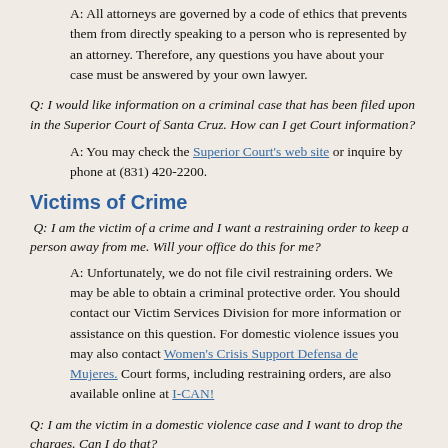A: All attorneys are governed by a code of ethics that prevents them from directly speaking to a person who is represented by an attorney. Therefore, any questions you have about your case must be answered by your own lawyer.
Q: I would like information on a criminal case that has been filed upon in the Superior Court of Santa Cruz. How can I get Court information?
A: You may check the Superior Court's web site or inquire by phone at (831) 420-2200.
Victims of Crime
Q: I am the victim of a crime and I want a restraining order to keep a person away from me. Will your office do this for me?
A: Unfortunately, we do not file civil restraining orders. We may be able to obtain a criminal protective order. You should contact our Victim Services Division for more information or assistance on this question. For domestic violence issues you may also contact Women's Crisis Support Defensa de Mujeres. Court forms, including restraining orders, are also available online at I-CAN!
Q: I am the victim in a domestic violence case and I want to drop the charges. Can I do that?